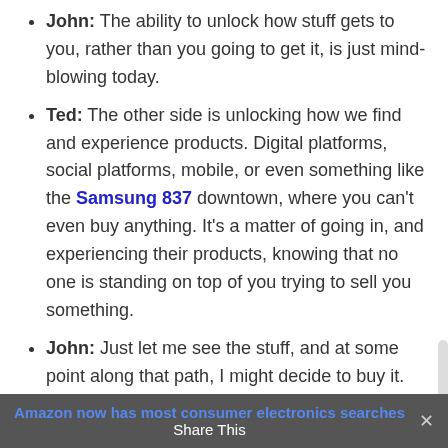John: The ability to unlock how stuff gets to you, rather than you going to get it, is just mind-blowing today.
Ted: The other side is unlocking how we find and experience products. Digital platforms, social platforms, mobile, or even something like the Samsung 837 downtown, where you can't even buy anything. It's a matter of going in, and experiencing their products, knowing that no one is standing on top of you trying to sell you something.
John: Just let me see the stuff, and at some point along that path, I might decide to buy it.
That gets to the heart of it. And surprise, surprise, Amazon is way out in front.
John: I saw an amazing stat the other day, that
Amazon now has most consumer electronics searches | Share This | ×